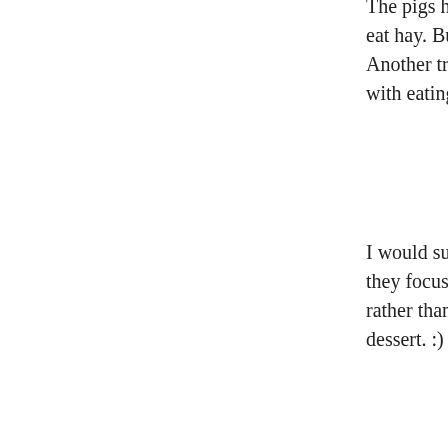The pigs have to learn to cut hay if they weren't eat hay. Build up a pad of hay and then pour so Another trick would be to mix in some hay wi with eating it as part of their feed.
I would suggest feeding the supplements like t they focus on eating the pasture/hay and dairy rather than gorging on candy. Remember: eat y dessert. :)
If you want more fat on them the trick is to inc last month or two of finishing. That is when th efficiently. Another trick is to grow them out a which are on a pasture/hay+dairy diet where m fat. They have a back fat layer of about 0.5" fo Even the big sows don't have more than about gestation before farrowing and nursing. Comp routinely see back fat of 2" to 4" in depth. Bac lot of lard but otherwise it is a waste as most p